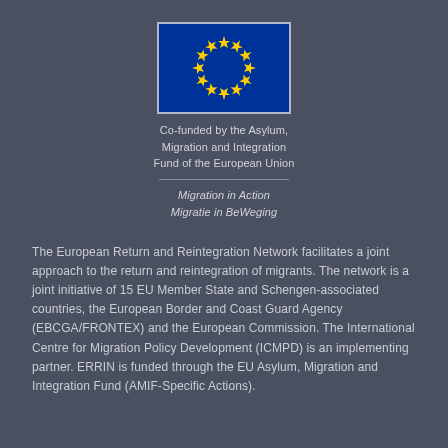[Figure (logo): EU flag — blue background with 12 yellow stars in a circle, bordered with light blue/grey frame]
Co-funded by the Asylum, Migration and Integration Fund of the European Union
Migration in Action
Migratie in BeWeging
The European Return and Reintegration Network facilitates a joint approach to the return and reintegration of migrants. The network is a joint initiative of 15 EU Member State and Schengen-associated countries, the European Border and Coast Guard Agency (EBCGA/FRONTEX) and the European Commission. The International Centre for Migration Policy Development (ICMPD) is an implementing partner. ERRIN is funded through the EU Asylum, Migration and Integration Fund (AMIF-Specific Actions).